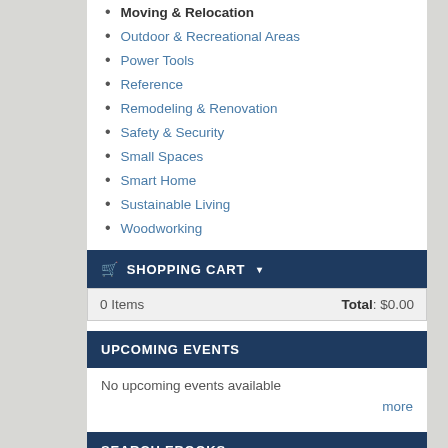Moving & Relocation
Outdoor & Recreational Areas
Power Tools
Reference
Remodeling & Renovation
Safety & Security
Small Spaces
Smart Home
Sustainable Living
Woodworking
SHOPPING CART
| Items | Total |
| --- | --- |
| 0 Items | Total: $0.00 |
UPCOMING EVENTS
No upcoming events available
more
SEARCH EBOOKS